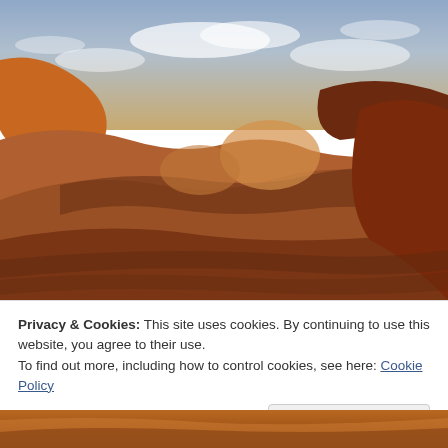[Figure (photo): Aerial/close-up photograph of red and orange sandstone rock formations with wavy layered patterns, under a partly cloudy blue-grey sky. Desert landscape, likely Valley of Fire or similar American Southwest location.]
Privacy & Cookies: This site uses cookies. By continuing to use this website, you agree to their use.
To find out more, including how to control cookies, see here: Cookie Policy
Close and accept
[Figure (photo): Bottom strip of red-orange desert rock formations — continuation of the landscape photo above.]